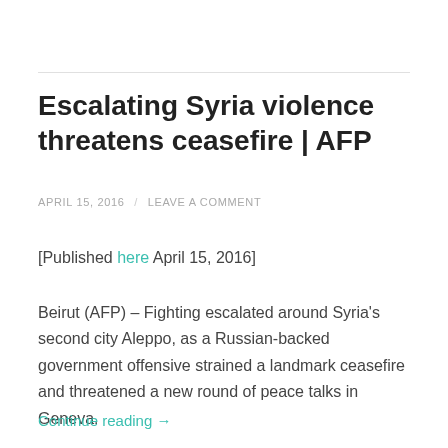Escalating Syria violence threatens ceasefire | AFP
APRIL 15, 2016 / LEAVE A COMMENT
[Published here April 15, 2016]
Beirut (AFP) – Fighting escalated around Syria's second city Aleppo, as a Russian-backed government offensive strained a landmark ceasefire and threatened a new round of peace talks in Geneva.
Continue reading →